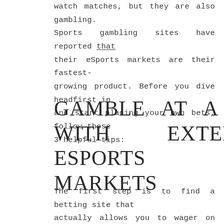watch matches, but they are also gambling. Sports gambling sites have reported that their eSports markets are their fastest-growing product. Before you dive headfirst in and start placing your own bets, follow these 3 helpful tips:
GAMBLE AT A SITE WITH EXTENSIVE ESPORTS MARKETS
The first step is to find a betting site that actually allows you to wager on eSports. While many sites have adapted to this gaming market, many are living in the stone age and don't host these markets. You also need to ensure that your chosen site lets you wager